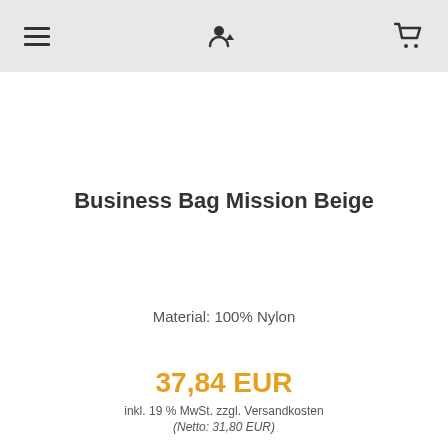≡  👤↓  🛒
Business Bag Mission Beige
Material:  100% Nylon
37,84 EUR
inkl. 19 % MwSt. zzgl. Versandkosten
(Netto: 31,80 EUR)